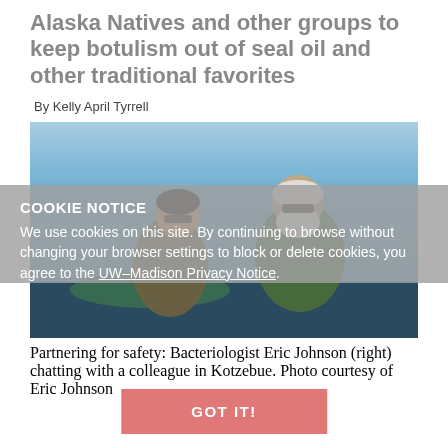Alaska Natives and other groups to keep botulism out of seal oil and other traditional favorites
By Kelly April Tyrrell
[Figure (photo): Two men seated in a boat on open water. The man on the left wears a camouflage jacket and sunglasses. The man on the right has a white beard and sunglasses and wears an olive green jacket. A blue tarp and water visible in background.]
Partnering for safety: Bacteriologist Eric Johnson (right) chatting with a colleague in Kotzebue. Photo courtesy of Eric Johnson
COOKIE NOTICE
We use cookies on this site. By continuing to browse without changing your browser settings to block or delete cookies, you agree to the UW–Madison Privacy Notice.